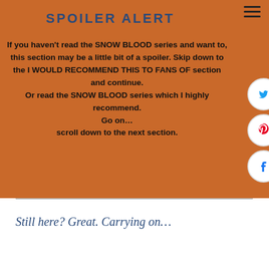SPOILER ALERT
If you haven't read the SNOW BLOOD series and want to, this section may be a little bit of a spoiler. Skip down to the I WOULD RECOMMEND THIS TO FANS OF section and continue.
Or read the SNOW BLOOD series which I highly recommend.
Go on…
scroll down to the next section.
Still here? Great. Carrying on…